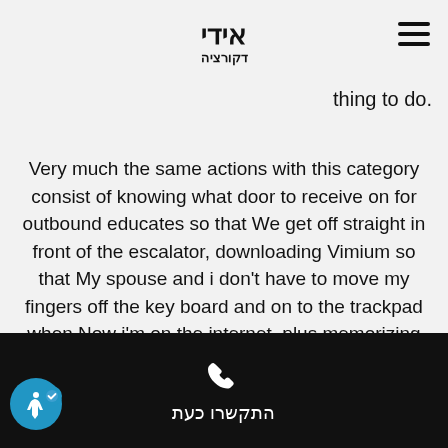אידי דקורציה
.thing to do
Very much the same actions with this category consist of knowing what door to receive on for outbound educates so that We get off straight in front of the escalator, downloading Vimium so that My spouse and i don't have to move my fingers off the key board and on to the trackpad when Now i'm on the internet, plus memorizing typically the traffic patterns of the stoplight at Birkenstock boston & Higher education Ave., and so
התקשרו כעת